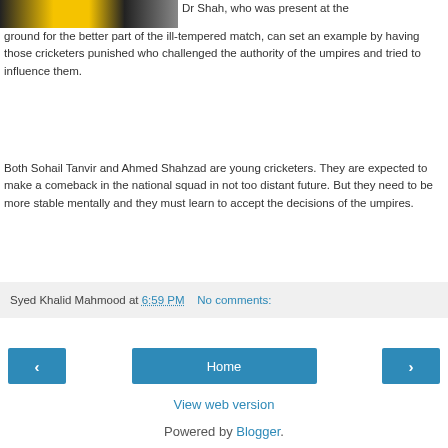[Figure (photo): Partial image of people, cropped at top]
Dr Shah, who was present at the ground for the better part of the ill-tempered match, can set an example by having those cricketers punished who challenged the authority of the umpires and tried to influence them.
Both Sohail Tanvir and Ahmed Shahzad are young cricketers. They are expected to make a comeback in the national squad in not too distant future. But they need to be more stable mentally and they must learn to accept the decisions of the umpires.
Syed Khalid Mahmood at 6:59 PM   No comments:
< Home >
View web version
Powered by Blogger.